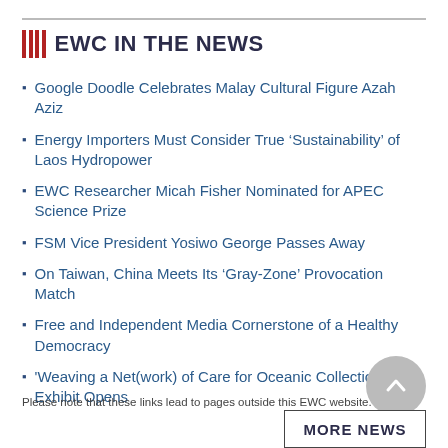EWC IN THE NEWS
Google Doodle Celebrates Malay Cultural Figure Azah Aziz
Energy Importers Must Consider True ‘Sustainability’ of Laos Hydropower
EWC Researcher Micah Fisher Nominated for APEC Science Prize
FSM Vice President Yosiwo George Passes Away
On Taiwan, China Meets Its ‘Gray-Zone’ Provocation Match
Free and Independent Media Cornerstone of a Healthy Democracy
'Weaving a Net(work) of Care for Oceanic Collections' Exhibit Opens
Please note that these links lead to pages outside this EWC website.
MORE NEWS